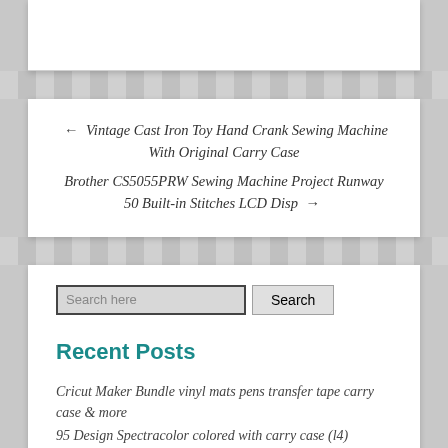← Vintage Cast Iron Toy Hand Crank Sewing Machine With Original Carry Case
Brother CS5055PRW Sewing Machine Project Runway 50 Built-in Stitches LCD Disp →
Search here [Search button]
Recent Posts
Cricut Maker Bundle vinyl mats pens transfer tape carry case & more
95 Design Spectracolor colored with carry case (l4)
Cricut Explore Air 2 Mint Bundle vinyl mats pens transfer tape carry case & more